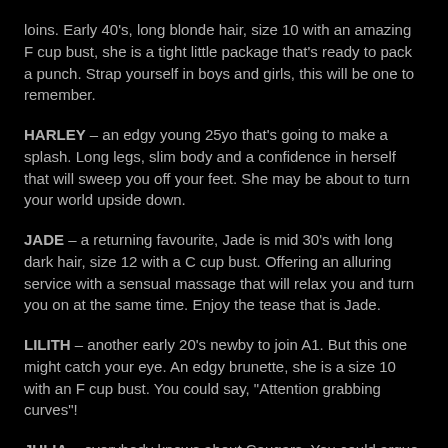loins. Early 40's, long blonde hair, size 10 with an amazing F cup bust, she is a tight little package that's ready to pack a punch. Strap yourself in boys and girls, this will be one to remember.
HARLEY – an edgy young 25yo that's going to make a splash. Long legs, slim body and a confidence in herself that will sweep you off your feet. She may be about to turn your world upside down.
JADE – a returning favourite, Jade is mid 30's with long dark hair, size 12 with a C cup bust. Offering an alluring service with a sensual massage that will relax you and turn you on at the same time. Enjoy the tease that is Jade.
LILITH – another early 20's newby to join A1. But this one might catch your eye. An edgy brunette, she is a size 10 with an F cup bust. You could say, "Attention grabbing curves"!
JULIA – everybody knows about Cougars. You could argue the book was written about Julia. Super fit 40 something with